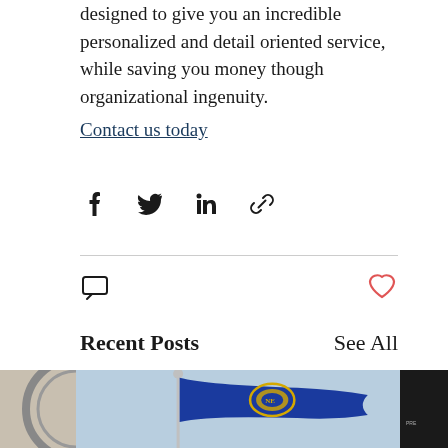designed to give you an incredible personalized and detail oriented service, while saving you money though organizational ingenuity. Contact us today
[Figure (infographic): Social share icons: Facebook, Twitter, LinkedIn, and link/chain icon]
[Figure (infographic): Comment bubble icon on left, heart/like icon on right]
Recent Posts
See All
[Figure (photo): Three post thumbnail images side by side: partial circular object on left, Nebraska state flag waving on a pole in the center, dark image on right]